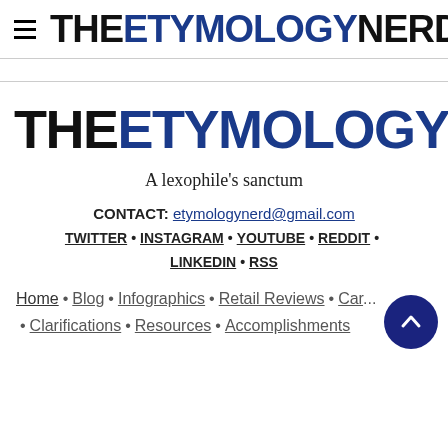THE ETYMOLOGY NERD (navigation header with hamburger menu)
[Figure (logo): THE ETYMOLOGY NERD large logo, THE and NERD in black, ETYMOLOGY in dark blue]
A lexophile's sanctum
CONTACT: etymologynerd@gmail.com
TWITTER • INSTAGRAM • YOUTUBE • REDDIT • LINKEDIN • RSS
Home • Blog • Infographics • Retail Reviews • Car... • Clarifications • Resources • Accomplishments